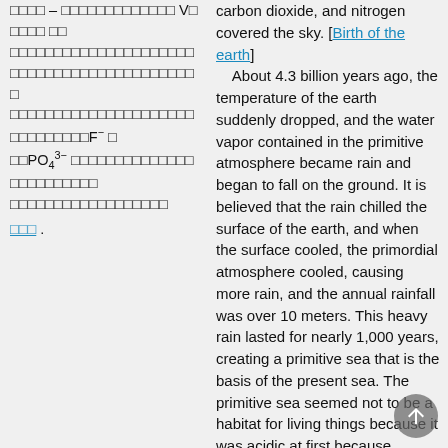□□□□ – □□□□□□□□□□□□□ V□□□□□ □□ □□□□□□□□□□□□□□□□□□□□3□□□□□□□□□□□□□□□□□□□□□□□□□F⁻□ □□PO₄³⁻□□□□□□□□□□□□□□□□□□□□□ □□□□□□□□□□□□□□□□□□□□□□□□
□□□ .
carbon dioxide, and nitrogen covered the sky. [Birth of the earth] About 4.3 billion years ago, the temperature of the earth suddenly dropped, and the water vapor contained in the primitive atmosphere became rain and began to fall on the ground. It is believed that the rain chilled the surface of the earth, and when the surface cooled, the primordial atmosphere cooled, causing more rain, and the annual rainfall was over 10 meters. This heavy rain lasted for nearly 1,000 years, creating a primitive sea that is the basis of the present sea. The primitive sea seemed not to be a habitat for living things because it was acidic at first because hydrochloric acid dissolved in the rain also flowed into it. After the sea...